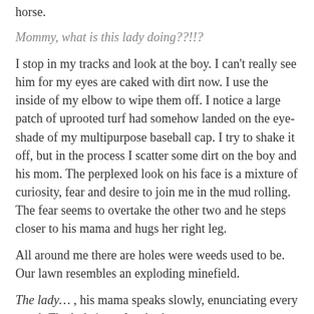horse.
Mommy, what is this lady doing??!!?
I stop in my tracks and look at the boy. I can't really see him for my eyes are caked with dirt now. I use the inside of my elbow to wipe them off. I notice a large patch of uprooted turf had somehow landed on the eye-shade of my multipurpose baseball cap. I try to shake it off, but in the process I scatter some dirt on the boy and his mom. The perplexed look on his face is a mixture of curiosity, fear and desire to join me in the mud rolling. The fear seems to overtake the other two and he steps closer to his mama and hugs her right leg.
All around me there are holes were weeds used to be. Our lawn resembles an exploding minefield.
The lady… , his mama speaks slowly, enunciating every word, The lady is… planting!
She dusts the dirt off his shoulder as they move on. My jaw drops with a thump, hitting the mound of dirt in front of me.